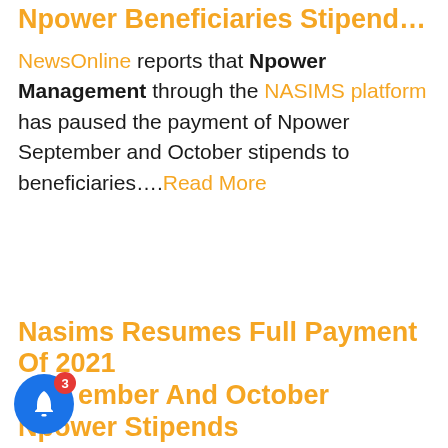Npower Beneficiaries Stipends Backlog
NewsOnline reports that Npower Management through the NASIMS platform has paused the payment of Npower September and October stipends to beneficiaries....Read More
Nasims Resumes Full Payment Of 2021 September And October Npower Stipends